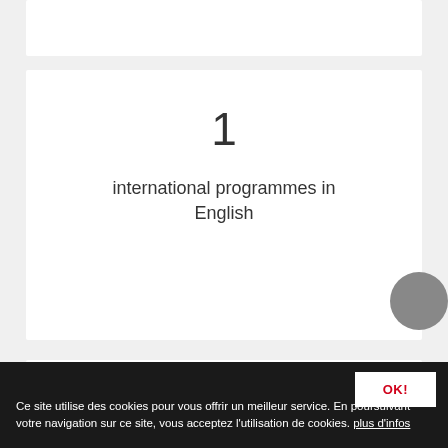1
international programmes in English
3
international semesters, in the
OK!
Ce site utilise des cookies pour vous offrir un meilleur service. En poursuivant votre navigation sur ce site, vous acceptez l'utilisation de cookies. plus d'infos